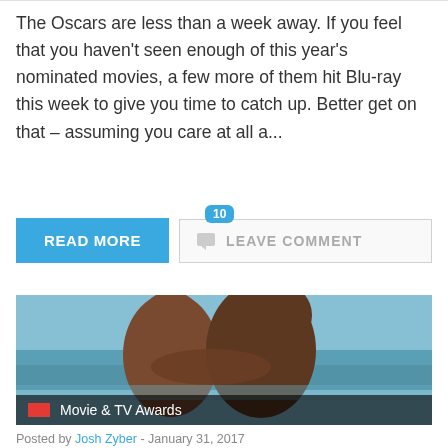The Oscars are less than a week away. If you feel that you haven't seen enough of this year's nominated movies, a few more of them hit Blu-ray this week to give you time to catch up. Better get on that – assuming you care at all a...
READ MORE
10  LEAVE COMMENT
[Figure (photo): Two men embracing at the beach, one facing away and one smiling, with ocean in the background. A 'Movie & TV Awards' label appears at the bottom left.]
Posted by Josh Zyber - January 31, 2017
Poll: Which 2017 Oscar-Nominated...